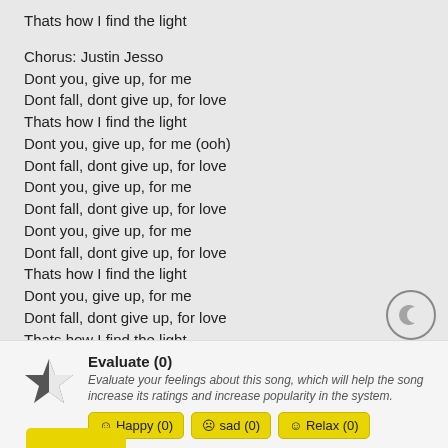Thats how I find the light
Chorus: Justin Jesso
Dont you, give up, for me
Dont fall, dont give up, for love
Thats how I find the light
Dont you, give up, for me (ooh)
Dont fall, dont give up, for love
Dont you, give up, for me
Dont fall, dont give up, for love
Dont you, give up, for me
Dont fall, dont give up, for love
Thats how I find the light
Dont you, give up, for me
Dont fall, dont give up, for love
Thats how I find the light
Dont you, give up, for me (ooh)
Dont fall, dont give up, for love
Evaluate (0)
Evaluate your feelings about this song, which will help the song increase its ratings and increase popularity in the system.
Happy (0)  sad (0)  Relax (0)